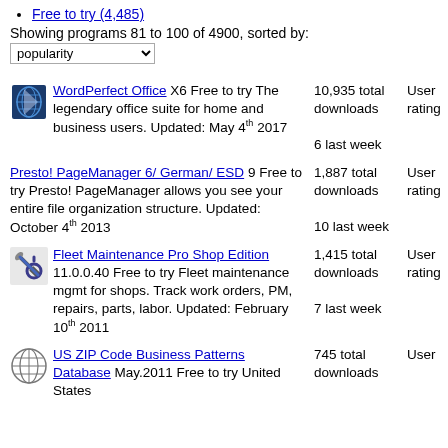Free to try (4,485)
Showing programs 81 to 100 of 4900, sorted by: popularity
WordPerfect Office X6 Free to try The legendary office suite for home and business users. Updated: May 4th 2017 | 10,935 total downloads | 6 last week | User rating
Presto! PageManager 6/ German/ ESD 9 Free to try Presto! PageManager allows you see your entire file organization structure. Updated: October 4th 2013 | 1,887 total downloads | 10 last week | User rating
Fleet Maintenance Pro Shop Edition 11.0.0.40 Free to try Fleet maintenance mgmt for shops. Track work orders, PM, repairs, parts, labor. Updated: February 10th 2011 | 1,415 total downloads | 7 last week | User rating
US ZIP Code Business Patterns Database May.2011 Free to try United States | 745 total downloads | User